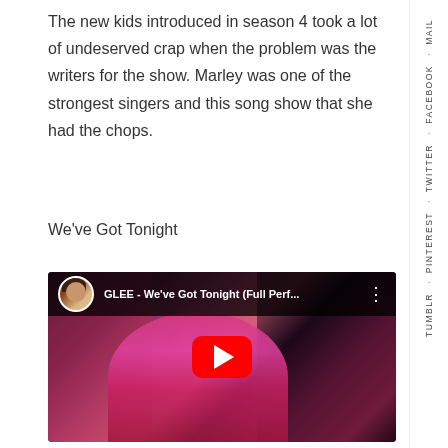The new kids introduced in season 4 took a lot of undeserved crap when the problem was the writers for the show. Marley was one of the strongest singers and this song show that she had the chops.
We've Got Tonight
[Figure (screenshot): YouTube video embed showing 'GLEE - We've Got Tonight (Full Perf...' with a thumbnail of a singer performing in a pink outfit, with the YouTube play button overlay.]